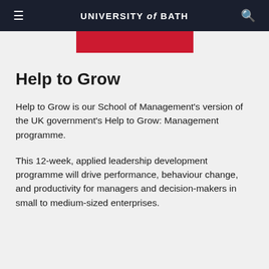UNIVERSITY of BATH
Help to Grow
Help to Grow is our School of Management's version of the UK government's Help to Grow: Management programme.
This 12-week, applied leadership development programme will drive performance, behaviour change, and productivity for managers and decision-makers in small to medium-sized enterprises.